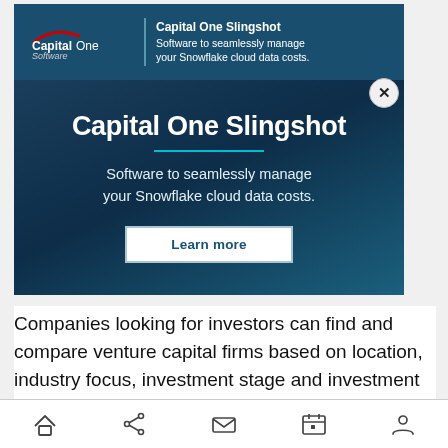[Figure (screenshot): Capital One Software advertisement banner with top bar showing logo and text 'Capital One Slingshot - Software to seamlessly manage your Snowflake cloud data costs.' and a close button]
[Figure (screenshot): Capital One Slingshot main advertisement on dark blue background with title 'Capital One Slingshot', cyan divider line, subtitle 'Software to seamlessly manage your Snowflake cloud data costs.', and a 'Learn more' button]
Companies looking for investors can find and compare venture capital firms based on location, industry focus, investment stage and investment range on FindTheBest’s Venture Capital Firms comparison.
[Figure (screenshot): Mobile browser bottom navigation bar with icons for home, share, mail, calendar, and profile]